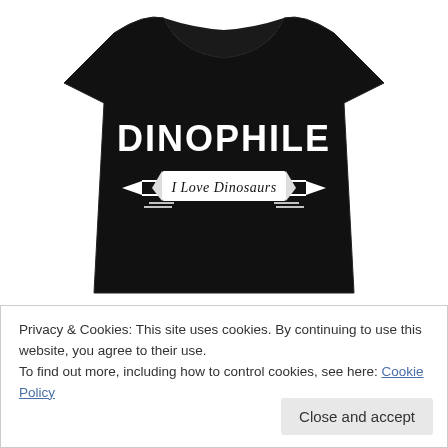[Figure (photo): Black t-shirt with white text 'DINOPHILE' in bold block letters and a banner below reading 'I Love Dinosaurs' in script font]
Privacy & Cookies: This site uses cookies. By continuing to use this website, you agree to their use.
To find out more, including how to control cookies, see here: Cookie Policy